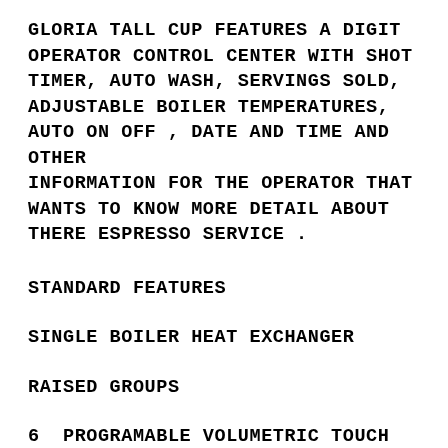GLORIA TALL CUP FEATURES A DIGIT OPERATOR CONTROL CENTER WITH SHOT TIMER, AUTO WASH, SERVINGS SOLD, ADJUSTABLE BOILER TEMPERATURES, AUTO ON OFF , DATE AND TIME AND OTHER INFORMATION FOR THE OPERATOR THAT WANTS TO KNOW MORE DETAIL ABOUT THERE ESPRESSO SERVICE .
STANDARD FEATURES
SINGLE BOILER HEAT EXCHANGER
RAISED GROUPS
6  PROGRAMABLE VOLUMETRIC TOUCH